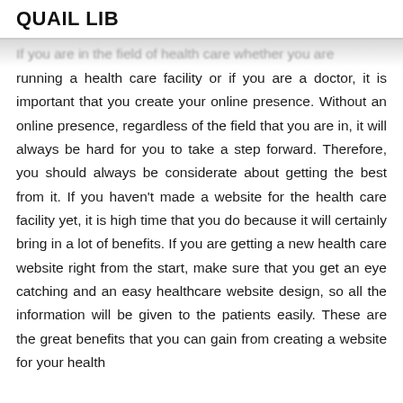QUAIL LIB
If you are in the field of health care whether you are running a health care facility or if you are a doctor, it is important that you create your online presence. Without an online presence, regardless of the field that you are in, it will always be hard for you to take a step forward. Therefore, you should always be considerate about getting the best from it. If you haven't made a website for the health care facility yet, it is high time that you do because it will certainly bring in a lot of benefits. If you are getting a new health care website right from the start, make sure that you get an eye catching and an easy healthcare website design, so all the information will be given to the patients easily. These are the great benefits that you can gain from creating a website for your health